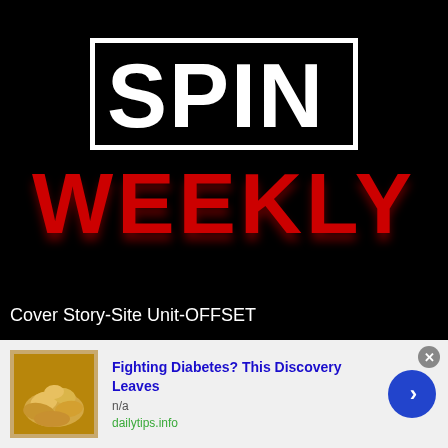[Figure (logo): SPIN WEEKLY logo: black background with white bordered box containing bold white 'SPIN' text, and large bold red 'WEEKLY' text below]
Cover Story-Site Unit-OFFSET
[Figure (photo): Cashews photo thumbnail for advertisement]
Fighting Diabetes? This Discovery Leaves
n/a
dailytips.info